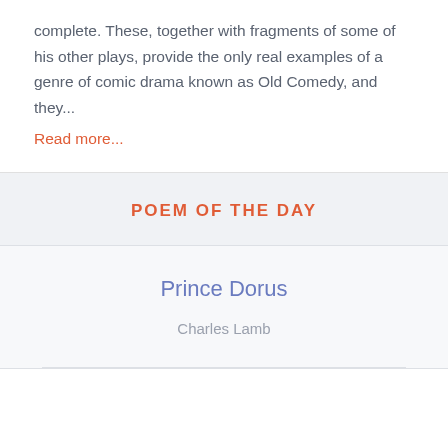complete. These, together with fragments of some of his other plays, provide the only real examples of a genre of comic drama known as Old Comedy, and they...
Read more...
POEM OF THE DAY
Prince Dorus
Charles Lamb